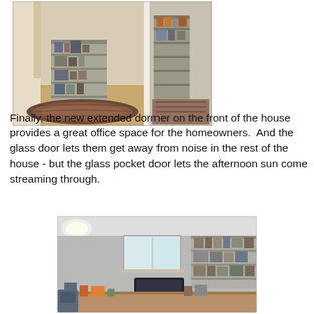[Figure (photo): Interior photo showing a hallway and a bookcase/shelving unit with decorative items, a patterned rug on hardwood floor, and glass door panels. Two panel photo composite showing before and after or two angles of the same space.]
Finally, the new extended dormer on the front of the house provides a great office space for the homeowners.  And the glass door lets them get away from noise in the rest of the house - but the glass pocket door lets the afternoon sun come streaming through.
[Figure (photo): Interior photo of a home office with a large desk, computer monitor, bookshelves along the wall, and two windows letting in natural light.]